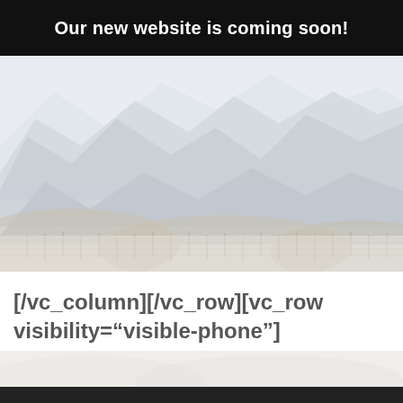Our new website is coming soon!
[Figure (photo): Mountain landscape photograph showing rocky peaks with snow, forested hills in the foreground, faded/washed out appearance]
[/vc_column][/vc_row][vc_row visibility="visible-phone"][vc_column]
[Figure (photo): Faded snowy rocky landscape at the bottom of the page]